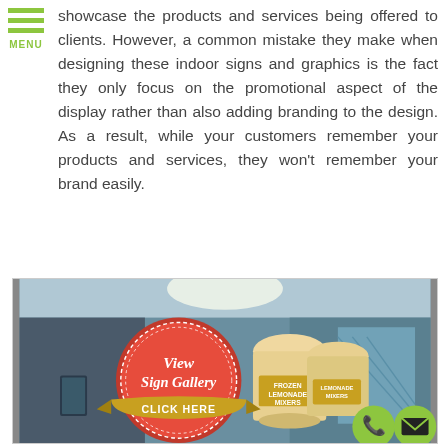showcase the products and services being offered to clients. However, a common mistake they make when designing these indoor signs and graphics is the fact they only focus on the promotional aspect of the display rather than also adding branding to the design. As a result, while your customers remember your products and services, they won't remember your brand easily.
[Figure (photo): Indoor sign display showing frozen lemonade mixers cups with a red circular badge overlay reading 'View Sign Gallery CLICK HERE']